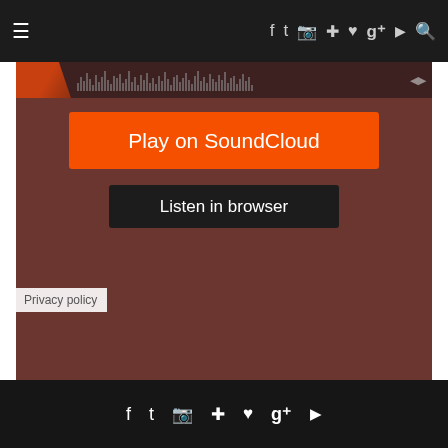≡  f  t  camera  pinterest  heart  g+  play  search
[Figure (screenshot): SoundCloud embed widget showing orange 'Play on SoundCloud' button and dark 'Listen in browser' button on a dark brownish-red background, with a Privacy policy label]
INSTAGRAM
Instagram did not return a 200. FOLLOW US
f  t  camera  pinterest  heart  g+  play